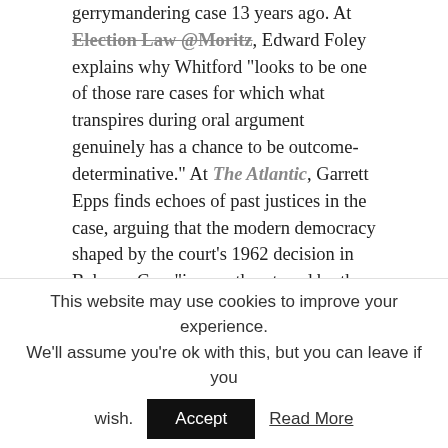gerrymandering case 13 years ago. At Election Law @Moritz, Edward Foley explains why Whitford "looks to be one of those rare cases for which what transpires during oral argument genuinely has a chance to be outcome-determinative." At The Atlantic, Garrett Epps finds echoes of past justices in the case, arguing that the modern democracy shaped by the court's 1962 decision in Baker v. Carr "is now threatened by the creativity of partisan hackery," and that Whitford "will show us whether the Roberts Court has the intelligence to find a remedy, and the courage to apply it." In an op-ed for The Hill, Carolyn Shapiro warns that "[i]n the absence of constitutional and judicially-enforceable limitations on partisan gerrymandering, it is well within the realm of possibility that constitutional
This website may use cookies to improve your experience. We'll assume you're ok with this, but you can leave if you wish.